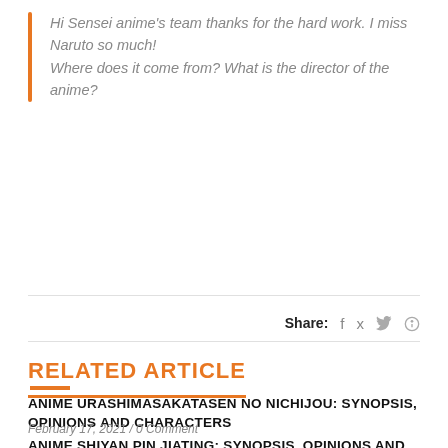Hi Sensei anime's team thanks for the hard work. I miss Naruto so much! Where does it come from? What is the director of the anime?
Share: f 🐦 ⊕
RELATED ARTICLE
ANIME URASHIMASAKATASEN NO NICHIJOU: SYNOPSIS, OPINIONS AND CHARACTERS
February 17, 2021 / 0 Comment
ANIME SHIYAN PIN JIATING: SYNOPSIS, OPINIONS AND